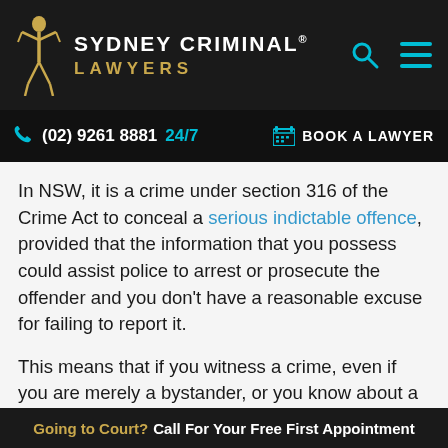SYDNEY CRIMINAL® LAWYERS
(02) 9261 8881 24/7    BOOK A LAWYER
In NSW, it is a crime under section 316 of the Crime Act to conceal a serious indictable offence, provided that the information that you possess could assist police to arrest or prosecute the offender and you don't have a reasonable excuse for failing to report it.
This means that if you witness a crime, even if you are merely a bystander, or you know about a crime before or after it is committed, you can be charged with concealing a serious indictable offence. There is a penalty of up to two years' imprisonment
Going to Court? Call For Your Free First Appointment